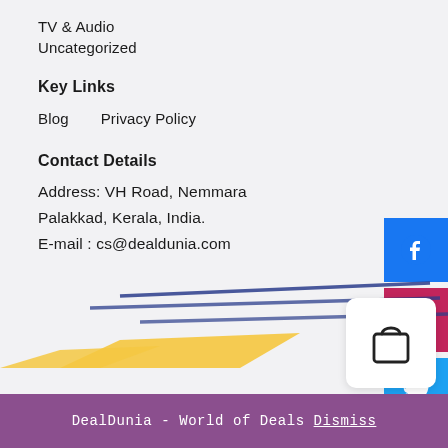TV & Audio
Uncategorized
Key Links
Blog
Privacy Policy
Contact Details
Address: VH Road, Nemmara
Palakkad, Kerala, India.
E-mail : cs@dealdunia.com
[Figure (illustration): Decorative diagonal blue lines and yellow shape at the bottom of the page]
[Figure (illustration): Shopping bag icon in a white rounded square button]
DealDunia - World of Deals Dismiss